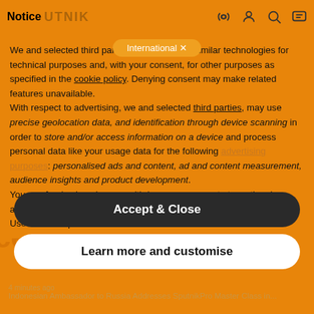Notice
We and selected third parties use cookies or similar technologies for technical purposes and, with your consent, for other purposes as specified in the cookie policy. Denying consent may make related features unavailable.
With respect to advertising, we and selected third parties, may use precise geolocation data, and identification through device scanning in order to store and/or access information on a device and process personal data like your usage data for the following advertising purposes: personalised ads and content, ad and content measurement, audience insights and product development.
You can freely give, deny, or withdraw your consent at any time by accessing the advertising preferences panel.
Use the "Accept & Close" button to consent to the use of such
Accept & Close
Learn more and customise
Indonesian Ambassador to Russia Addresses SputnikPro Master Class in...